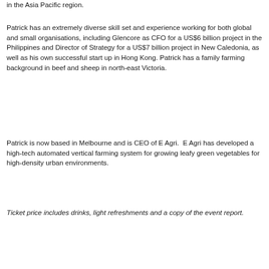in the Asia Pacific region.
Patrick has an extremely diverse skill set and experience working for both global and small organisations, including Glencore as CFO for a US$6 billion project in the Philippines and Director of Strategy for a US$7 billion project in New Caledonia, as well as his own successful start up in Hong Kong. Patrick has a family farming background in beef and sheep in north-east Victoria.
Patrick is now based in Melbourne and is CEO of E Agri.  E Agri has developed a high-tech automated vertical farming system for growing leafy green vegetables for high-density urban environments.
Ticket price includes drinks, light refreshments and a copy of the event report.